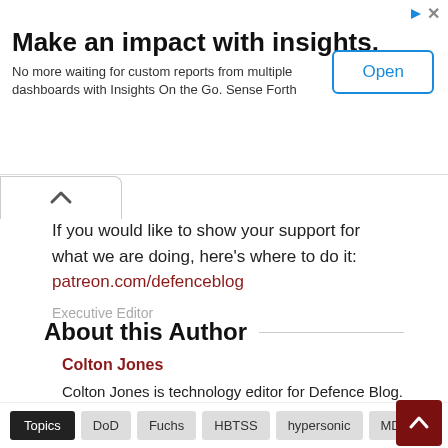[Figure (other): Advertisement banner: 'Make an impact with insights.' with Open button]
If you would like to show your support for what we are doing, here's where to do it: patreon.com/defenceblog
Executive Editor
About this Author
Colton Jones
Colton Jones is technology editor for Defence Blog. He has written about emerging technology in military magazines and elsewhere.
Topics
DoD
Fuchs
HBTSS
hypersonic
MDA